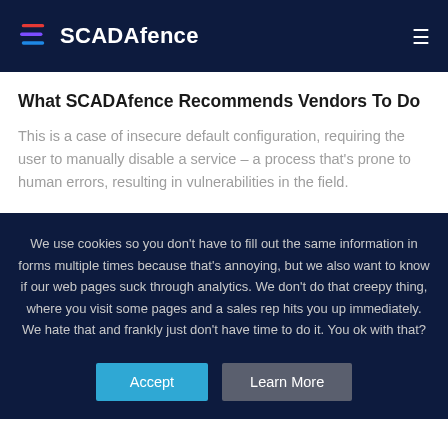SCADAfence
What SCADAfence Recommends Vendors To Do
This is a case of insecure default configuration, requiring the user to manually disable a service – a process that's prone to human errors, resulting in vulnerabilities in the field.
We use cookies so you don't have to fill out the same information in forms multiple times because that's annoying, but we also want to know if our web pages suck through analytics. We don't do that creepy thing, where you visit some pages and a sales rep hits you up immediately. We hate that and frankly just don't have time to do it. You ok with that?
Accept
Learn More